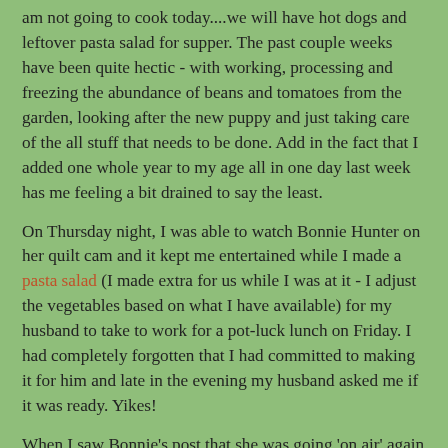am not going to cook today....we will have hot dogs and leftover pasta salad for supper. The past couple weeks have been quite hectic - with working, processing and freezing the abundance of beans and tomatoes from the garden, looking after the new puppy and just taking care of the all stuff that needs to be done. Add in the fact that I added one whole year to my age all in one day last week has me feeling a bit drained to say the least.
On Thursday night, I was able to watch Bonnie Hunter on her quilt cam and it kept me entertained while I made a pasta salad (I made extra for us while I was at it - I adjust the vegetables based on what I have available) for my husband to take to work for a pot-luck lunch on Friday. I had completely forgotten that I had committed to making it for him and late in the evening my husband asked me if it was ready. Yikes!
When I saw Bonnie's post that she was going 'on air' again last night I was so going to sew along but a couple gin & tonics got in the way. My husband and I were working together in the kitchen making a big batch of breaded pork chops for dinner and for freezing and he made me a couple drinks to sip on while we cooked and hung out together. I completely forgot that I wanted to